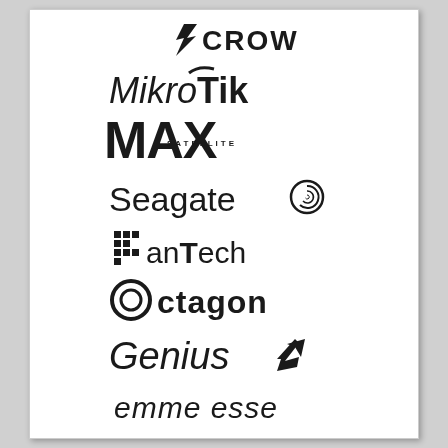[Figure (logo): CROW brand logo in bold stylized font with lightning bolt effect]
[Figure (logo): MikroTik logo with swoosh accent, mixed serif/sans lettering]
[Figure (logo): MAX SATELLITE logo in large bold block letters]
[Figure (logo): Seagate logo with spiral icon]
[Figure (logo): Fantech logo with grid pixel F icon]
[Figure (logo): Octagon logo with circular O icon]
[Figure (logo): Genius logo in italic script with checkmark icon]
[Figure (logo): emme esse logo in italic cursive script]